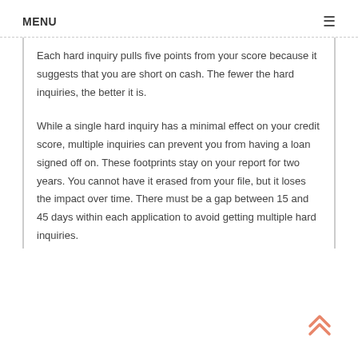MENU
Each hard inquiry pulls five points from your score because it suggests that you are short on cash. The fewer the hard inquiries, the better it is.
While a single hard inquiry has a minimal effect on your credit score, multiple inquiries can prevent you from having a loan signed off on. These footprints stay on your report for two years. You cannot have it erased from your file, but it loses the impact over time. There must be a gap between 15 and 45 days within each application to avoid getting multiple hard inquiries.